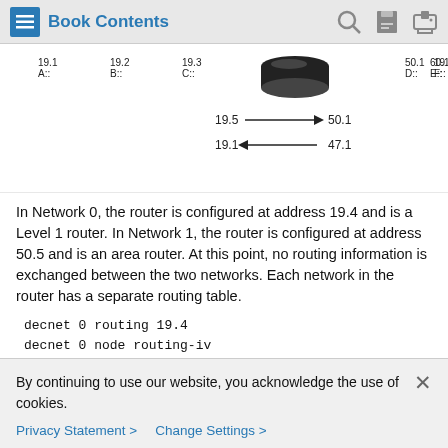Book Contents
[Figure (network-graph): Network diagram showing router with labeled interfaces: 19.1 A::, 19.2 B::, 19.3 C::, 50.1 D::, 60.1 E::, 19.1 F::. Arrows show 19.5 → 50.1 and 19.1 ← 47.1. Figure number 31034.]
In Network 0, the router is configured at address 19.4 and is a Level 1 router. In Network 1, the router is configured at address 50.5 and is an area router. At this point, no routing information is exchanged between the two networks. Each network in the router has a separate routing table.
decnet 0 routing 19.4
decnet 0 node routing-iv
interface ethernet 0
  decnet 0 cost 1
By continuing to use our website, you acknowledge the use of cookies.
Privacy Statement >   Change Settings >